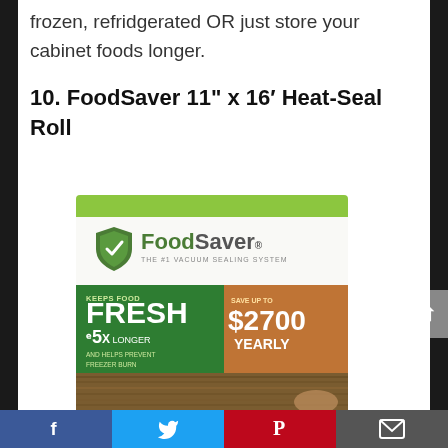frozen, refridgerated OR just store your cabinet foods longer.
10. FoodSaver 11" x 16′ Heat-Seal Roll
[Figure (photo): FoodSaver 11 inch x 16 foot Heat-Seal Roll product box. Box shows FoodSaver logo with green shield, text 'KEEPS FOOD FRESH 5X LONGER AND HELPS PREVENT FREEZER BURN' on a green background, and 'SAVE UP TO $2700 YEARLY' on an orange/brown background. Bottom of box shows vacuum-sealed food.]
Facebook | Twitter | Pinterest | Email social share bar